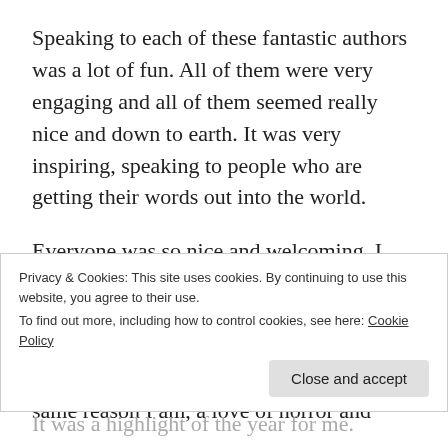Speaking to each of these fantastic authors was a lot of fun. All of them were very engaging and all of them seemed really nice and down to earth. It was very inspiring, speaking to people who are getting their words out into the world.
Everyone was so nice and welcoming. I can feel awkward at times, and not quite sure of myself, but at Bristol Horror Con, and DemonCon, I felt at ease in these groups of people. They're there for the same reason I am, a love of horror and
Privacy & Cookies: This site uses cookies. By continuing to use this website, you agree to their use.
To find out more, including how to control cookies, see here: Cookie Policy
Close and accept
It was a highlight of the year for me.